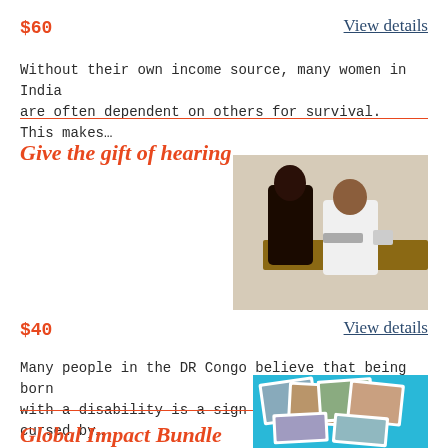$60
View details
Without their own income source, many women in India are often dependent on others for survival. This makes…
Give the gift of hearing
[Figure (photo): Two people at a desk, one in a white coat, appears to be a medical or educational setting]
$40
View details
Many people in the DR Congo believe that being born with a disability is a sign that you have been cursed by…
Global Impact Bundle
[Figure (photo): Collage of photos on a blue background]